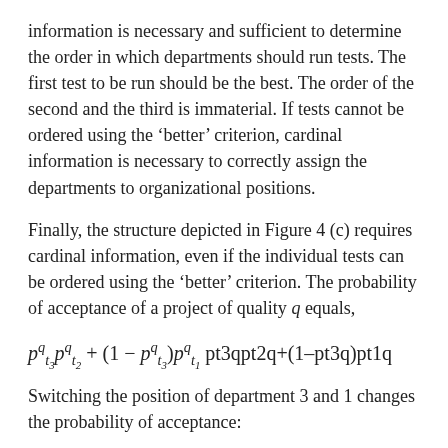information is necessary and sufficient to determine the order in which departments should run tests. The first test to be run should be the best. The order of the second and the third is immaterial. If tests cannot be ordered using the ‘better’ criterion, cardinal information is necessary to correctly assign the departments to organizational positions.
Finally, the structure depicted in Figure 4 (c) requires cardinal information, even if the individual tests can be ordered using the ‘better’ criterion. The probability of acceptance of a project of quality q equals,
Switching the position of department 3 and 1 changes the probability of acceptance: